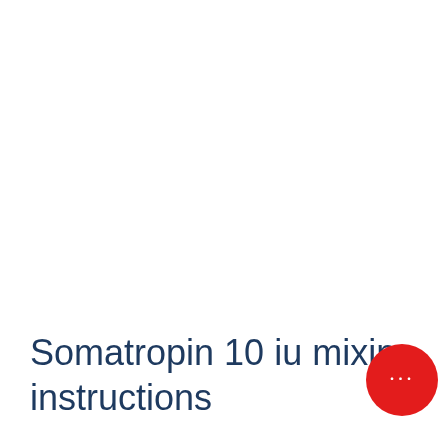Somatropin 10 iu mixing instructions